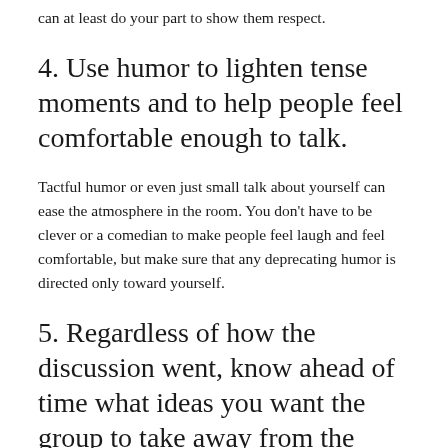can at least do your part to show them respect.
4. Use humor to lighten tense moments and to help people feel comfortable enough to talk.
Tactful humor or even just small talk about yourself can ease the atmosphere in the room. You don't have to be clever or a comedian to make people feel laugh and feel comfortable, but make sure that any deprecating humor is directed only toward yourself.
5. Regardless of how the discussion went, know ahead of time what ideas you want the group to take away from the